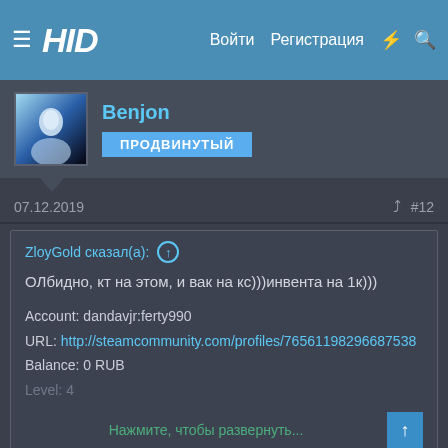HID | Войти | Регистрация
Benjon
ПРОДВИНУТЫЙ
07.12.2019  #12
ZloyGold сказал(а): ⊕
ОЛбидно, кт на этом, и вак на кс)))инвента на 1к)))

Account: dandavjr:ferty990
URL: http://steamcommunity.com/profiles/76561198296687538
Balance: 0 RUB
Level: 4
Нажмите, чтобы развернуть...
Без вака кс го есть?
Сменить стиль форума Сменить!.
ZloyGold